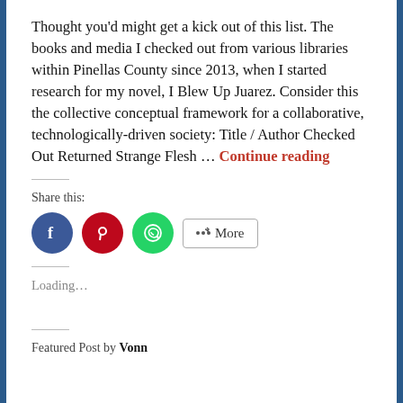Thought you'd might get a kick out of this list. The books and media I checked out from various libraries within Pinellas County since 2013, when I started research for my novel, I Blew Up Juarez. Consider this the collective conceptual framework for a collaborative, technologically-driven society: Title / Author Checked Out Returned Strange Flesh … Continue reading
Share this:
[Figure (infographic): Social share buttons: Facebook (blue circle), Pinterest (red circle), WhatsApp (green circle), and a More button with share icon]
Loading…
Featured Post by Vonn